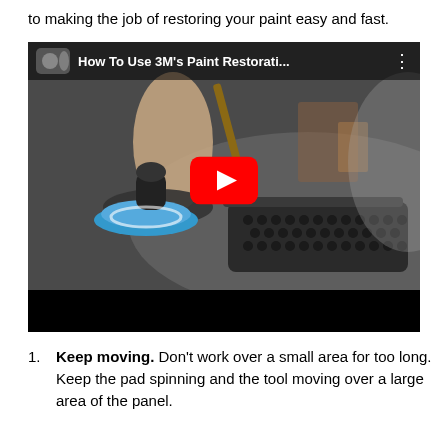to making the job of restoring your paint easy and fast.
[Figure (screenshot): YouTube video thumbnail showing a person using a 3M orbital polisher with a blue foam pad on a car hood, with a red YouTube play button overlay. Video title: 'How To Use 3M's Paint Restorati...']
Keep moving. Don't work over a small area for too long. Keep the pad spinning and the tool moving over a large area of the panel.